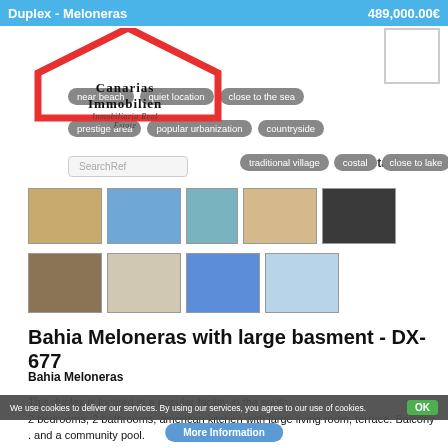Duplex - Meloneras | 489,000.00€
[Figure (logo): Canarias Immobilien logo with red house roof icon and text 'Canarias Immobilien Inmobiliaria Real Estate']
near beach
quiet location
close to the sea
prestige area
popular urbanization
countryside
traditional village
costal
close to lake
SearchRef
Detail Search
[Figure (photo): Thumbnail photos of property interior and exterior: living area, kitchen, bedroom, door entrance — 9 photos total]
Bahia Meloneras with large basment - DX-677
Bahia Meloneras
This duplex is located in a popular facility in the south.
2 bedrooms, 2 bathrooms, american kitchen with large living room, terrace. Balcony . and a community pool.
There is also the possibility to build a living unit in the large basement.

Costa Meloneras is a very quiet and popular residential area. Very
We use cookies to deliver our services. By using our services, you agree to our use of cookies.
OK
More Information